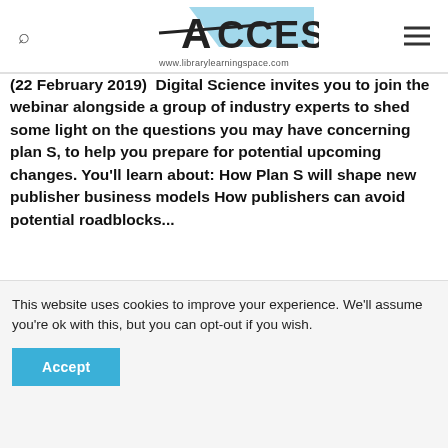ACCESS – www.librarylearningspace.com
(22 February 2019)  Digital Science invites you to join the webinar alongside a group of industry experts to shed some light on the questions you may have concerning plan S, to help you prepare for potential upcoming changes. You'll learn about: How Plan S will shape new publisher business models How publishers can avoid potential roadblocks...
Read Article ▶
This website uses cookies to improve your experience. We'll assume you're ok with this, but you can opt-out if you wish.
Accept